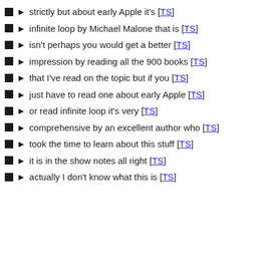strictly but about early Apple it's [TS]
infinite loop by Michael Malone that is [TS]
isn't perhaps you would get a better [TS]
impression by reading all the 900 books [TS]
that I've read on the topic but if you [TS]
just have to read one about early Apple [TS]
or read infinite loop it's very [TS]
comprehensive by an excellent author who [TS]
took the time to learn about this stuff [TS]
it is in the show notes all right [TS]
actually I don't know what this is [TS]